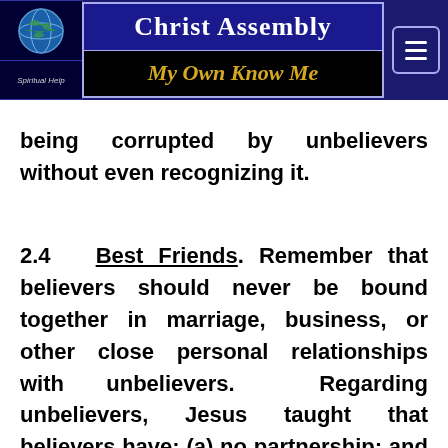Christ Assembly — My Own Know Me
being corrupted by unbelievers without even recognizing it.
2.4 Best Friends. Remember that believers should never be bound together in marriage, business, or other close personal relationships with unbelievers. Regarding unbelievers, Jesus taught that believers have: (a) no partnership; and (b) no fellowship; and (c)